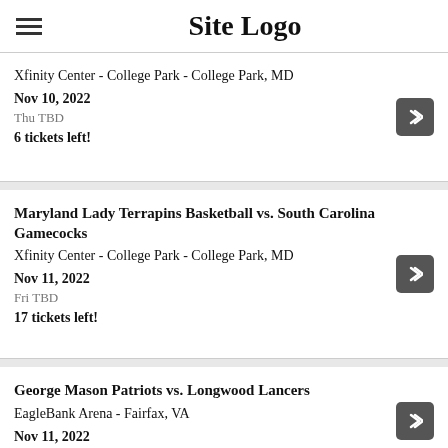Site Logo
Xfinity Center - College Park - College Park, MD
Nov 10, 2022
Thu TBD
6 tickets left!
Maryland Lady Terrapins Basketball vs. South Carolina Gamecocks
Xfinity Center - College Park - College Park, MD
Nov 11, 2022
Fri TBD
17 tickets left!
George Mason Patriots vs. Longwood Lancers
EagleBank Arena - Fairfax, VA
Nov 11, 2022